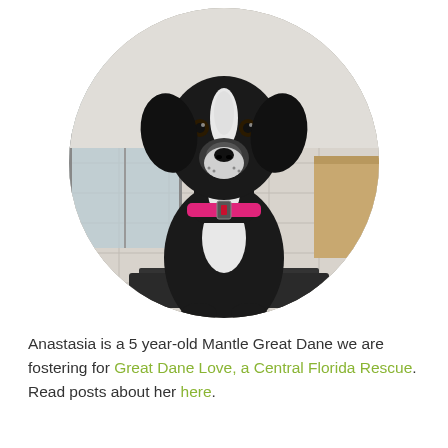[Figure (photo): A black and white Great Dane dog wearing a pink collar, sitting indoors on a tiled floor near a sliding glass door. The photo is cropped in a circle.]
Anastasia is a 5 year-old Mantle Great Dane we are fostering for Great Dane Love, a Central Florida Rescue. Read posts about her here.